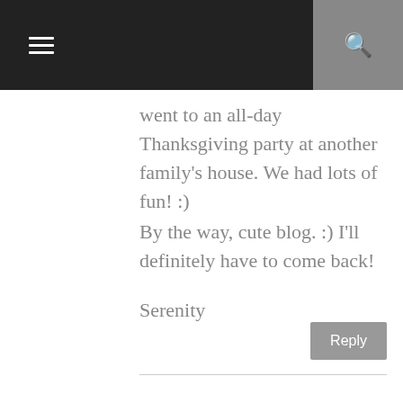went to an all-day Thanksgiving party at another family's house. We had lots of fun! :)
By the way, cute blog. :) I'll definitely have to come back!
Serenity
Reply